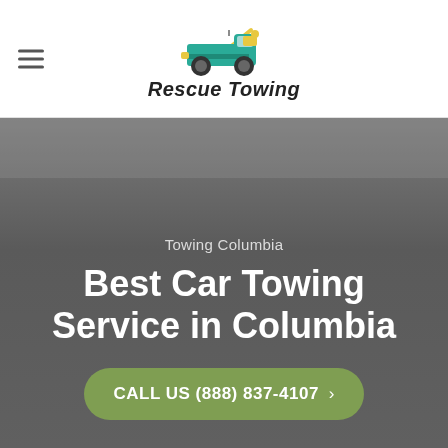Rescue Towing
[Figure (logo): Rescue Towing logo with a cartoon tow truck illustration above the brand name 'Rescue Towing' in bold italic text]
Towing Columbia
Best Car Towing Service in Columbia
CALL US (888) 837-4107 >